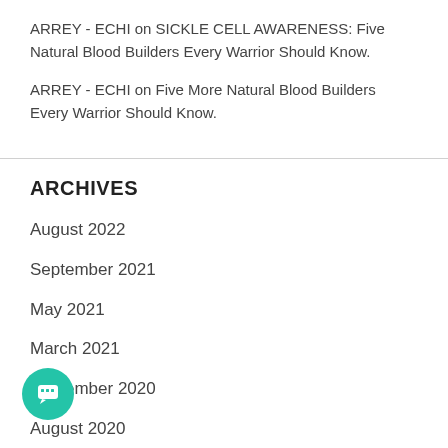ARREY - ECHI on SICKLE CELL AWARENESS: Five Natural Blood Builders Every Warrior Should Know.
ARREY - ECHI on Five More Natural Blood Builders Every Warrior Should Know.
ARCHIVES
August 2022
September 2021
May 2021
March 2021
September 2020
August 2020